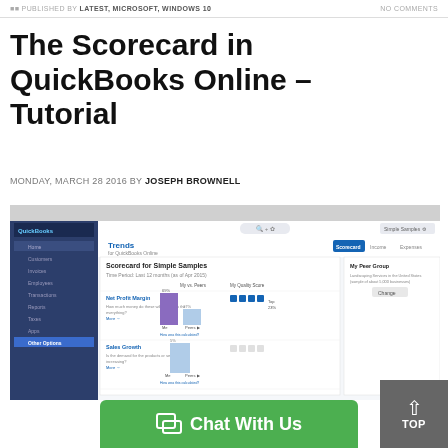PUBLISHED BY LATEST, MICROSOFT, WINDOWS 10    NO COMMENTS
The Scorecard in QuickBooks Online – Tutorial
MONDAY, MARCH 28 2016 BY JOSEPH BROWNELL
[Figure (screenshot): Screenshot of QuickBooks Online Trends page showing the Scorecard for Simple Samples with Net Profit Margin, Sales Growth, and Cash Flow metrics, with bar charts and peer group comparisons.]
Chat With Us